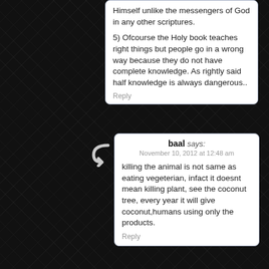Himself unlike the messengers of God in any other scriptures.
5) Ofcourse the Holy book teaches right things but people go in a wrong way because they do not have complete knowledge. As rightly said half knowledge is always dangerous..
Reply
baal says: November 10, 2012 at 12:48 am
killing the animal is not same as eating vegeterian, infact it doesnt mean killing plant, see the coconut tree, every year it will give coconut,humans using only the products.
Reply